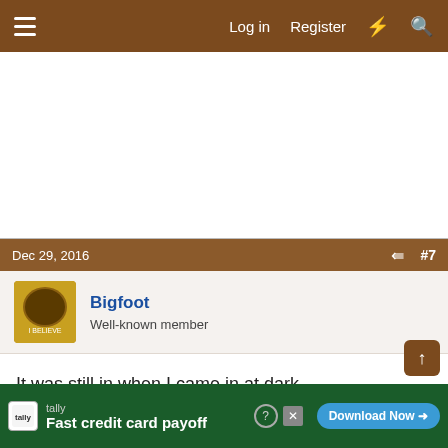Log in  Register
Dec 29, 2016  #7
Bigfoot
Well-known member
It was still in when I came in at dark.
Reply
tally Fast credit card payoff  Download Now